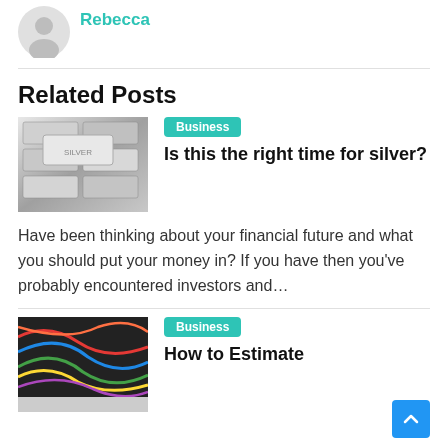Rebecca
Related Posts
[Figure (photo): Silver bars stacked together, black and white photo]
Business
Is this the right time for silver?
Have been thinking about your financial future and what you should put your money in? If you have then you've probably encountered investors and…
[Figure (photo): Colorful wires or fibers, close-up photo]
Business
How to Estimate